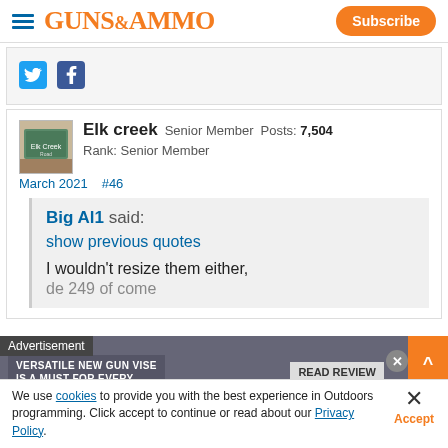GUNS&AMMO | Subscribe
[Figure (screenshot): Social sharing bar with Twitter and Facebook icons on light gray background]
Elk creek Senior Member Posts: 7,504 Rank: Senior Member
March 2021  #46
Big Al1 said: show previous quotes I wouldn't resize them either,
[Figure (screenshot): Advertisement banner: VERSATILE NEW GUN VISE IS A MUST FOR EVERY - READ REVIEW]
We use cookies to provide you with the best experience in Outdoors programming. Click accept to continue or read about our Privacy Policy.